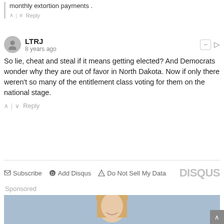monthly extortion payments .
Reply
LTRJ
8 years ago
So lie, cheat and steal if it means getting elected? And Democrats wonder why they are out of favor in North Dakota. Now if only there weren't so many of the entitlement class voting for them on the national stage.
Reply
Subscribe  Add Disqus  Do Not Sell My Data  DISQUS
Sponsored
[Figure (photo): Smiling young blonde woman against a light blue background, sponsored advertisement image]